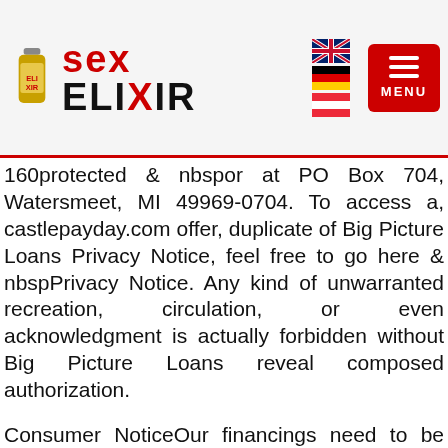[Figure (logo): Sex Elixir website header logo with product bottle image, flags (UK, Germany, Austria), and red menu button]
160protected & nbspor at PO Box 704, Watersmeet, MI 49969-0704. To access a, castlepayday.com offer, duplicate of Big Picture Loans Privacy Notice, feel free to go here & nbspPrivacy Notice. Any kind of unwarranted recreation, circulation, or even acknowledgment is actually forbidden without Big Picture Loans reveal composed authorization.
Consumer NoticeOur financings need to be actually made use of for temporary monetary necessities simply, certainly not as a